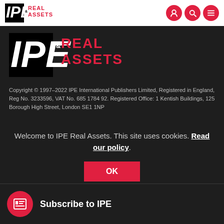IPE Real Assets - navigation bar with logo and icons
[Figure (logo): IPE Real Assets logo - large white version on dark background]
Copyright © 1997–2022 IPE International Publishers Limited, Registered in England, Reg No. 3233596, VAT No. 685 1784 92. Registered Office: 1 Kentish Buildings, 125 Borough High Street, London SE1 1NP
Welcome to IPE Real Assets. This site uses cookies. Read our policy.
OK
Subscribe to IPE